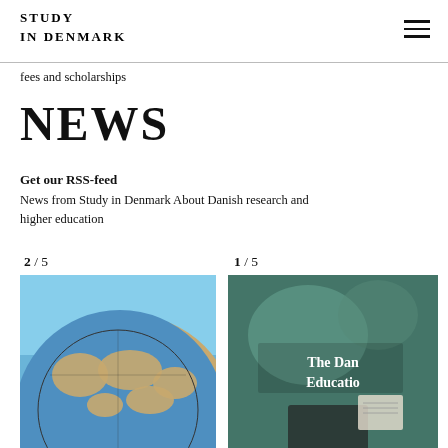STUDY IN DENMARK
fees and scholarships
NEWS
Get our RSS-feed
News from Study in Denmark About Danish research and higher education
2 / 5
[Figure (photo): Globe showing map of the world against a blue sky background]
1 / 5
[Figure (photo): Book cover or poster for 'The Danish Education' with a background of green/teal imagery and a person in formal wear]